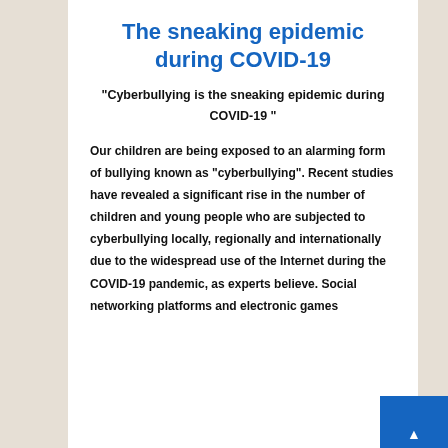The sneaking epidemic during COVID-19
“Cyberbullying is the sneaking epidemic during COVID-19 ”
Our children are being exposed to an alarming form of bullying known as “cyberbullying”.  Recent studies have revealed a significant rise in the number of children and young people who are subjected to cyberbullying locally, regionally and internationally due to the widespread use of the Internet during the COVID-19 pandemic, as experts believe. Social networking platforms and electronic games